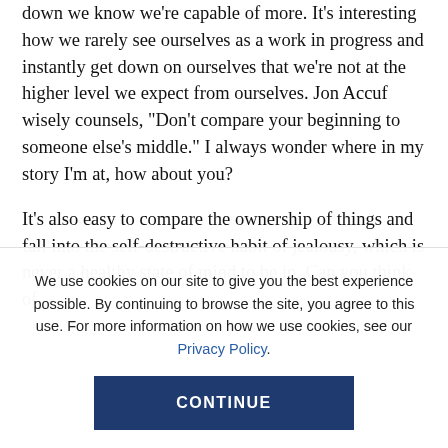down we know we're capable of more. It's interesting how we rarely see ourselves as a work in progress and instantly get down on ourselves that we're not at the higher level we expect from ourselves. Jon Accuf wisely counsels, "Don't compare your beginning to someone else's middle." I always wonder where in my story I'm at, how about you?
It's also easy to compare the ownership of things and fall into the self-destructive habit of jealousy, which is never a healthy state of mind to be in. Can you think of
We use cookies on our site to give you the best experience possible. By continuing to browse the site, you agree to this use. For more information on how we use cookies, see our Privacy Policy.
CONTINUE